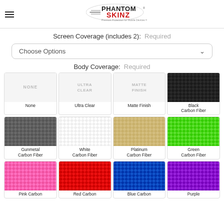[Figure (logo): Phantom Skinz logo - Premium Protection for Mobile Devices]
Screen Coverage (includes 2):  Required
Choose Options
Body Coverage:  Required
[Figure (infographic): Color selection grid with 12 options: None, Ultra Clear, Matte Finish, Black Carbon Fiber, Gunmetal Carbon Fiber, White Carbon Fiber, Platinum Carbon Fiber, Green Carbon Fiber, Pink Carbon, Red Carbon, Blue Carbon, Purple]
None
Ultra Clear
Matte Finish
Black Carbon Fiber
Gunmetal Carbon Fiber
White Carbon Fiber
Platinum Carbon Fiber
Green Carbon Fiber
Pink Carbon
Red Carbon
Blue Carbon
Purple